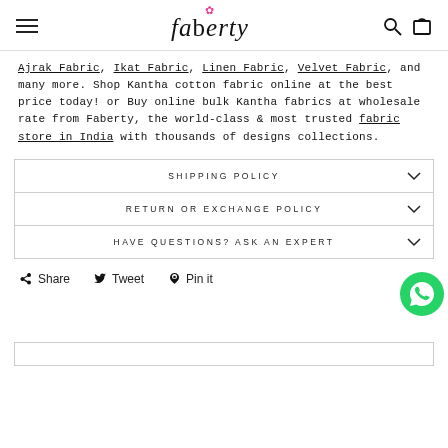Faberty — Navigation header with hamburger menu, Faberty logo, search and cart icons
Ajrak Fabric, Ikat Fabric, Linen Fabric, Velvet Fabric, and many more. Shop Kantha cotton fabric online at the best price today! or Buy online bulk Kantha fabrics at wholesale rate from Faberty, the world-class & most trusted fabric store in India with thousands of designs collections.
SHIPPING POLICY
RETURN OR EXCHANGE POLICY
HAVE QUESTIONS? ASK AN EXPERT
Share  Tweet  Pin it
[Figure (other): WhatsApp contact button (green circle with chat icon)]